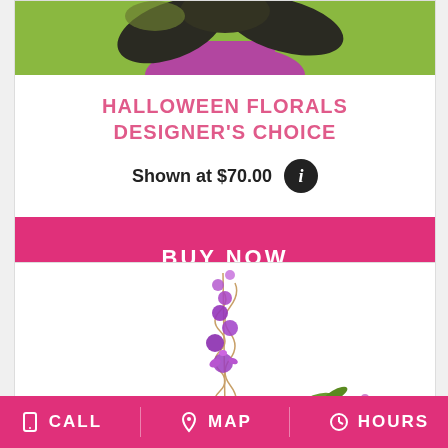[Figure (photo): Halloween floral arrangement on green and purple background, with dark leaves visible at top]
HALLOWEEN FLORALS DESIGNER'S CHOICE
Shown at $70.00
BUY NOW
[Figure (photo): Purple delphinium flowers with gold wire spiral decoration on white background]
CALL  MAP  HOURS